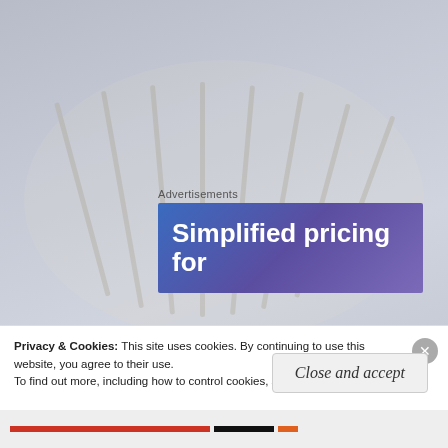Advertisements
[Figure (illustration): Advertisement banner with blue-to-purple gradient background showing text 'Simplified pricing for']
I can’t say that I’ve seen every episode of Doctor Who, but the ones I have watched have been great! The show mixes humor, sci-fi, and time travel all into one, and it’s super entertaining! The fandom is fun to be a part of as well, and the show gave us one
Privacy & Cookies: This site uses cookies. By continuing to use this website, you agree to their use.
To find out more, including how to control cookies, see here: Cookie Policy
Close and accept